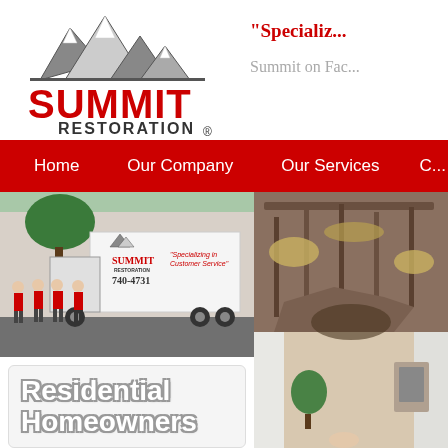[Figure (logo): Summit Restoration logo with mountain peaks graphic above bold red SUMMIT text and RESTORATION underneath with registered trademark symbol]
"Specializ...
Summit on Fac...
[Figure (other): Red navigation bar with white menu items: Home, Our Company, Our Services, and partially visible fourth item]
[Figure (photo): Summit Restoration company truck with four employees in red shirts standing in front of it in a parking lot. Truck has Summit Restoration logo and phone number 740-4731]
[Figure (photo): Damaged interior ceiling showing exposed beams, insulation and structural damage]
Residential Homeowners